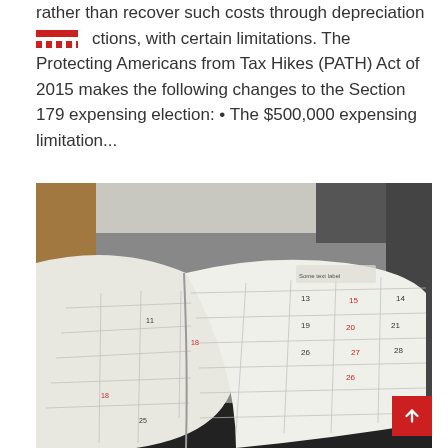rather than recover such costs through depreciation deductions, with certain limitations. The Protecting Americans from Tax Hikes (PATH) Act of 2015 makes the following changes to the Section 179 expensing election: • The $500,000 expensing limitation...
[Figure (photo): A photograph of an open calendar/planner book showing monthly grid pages with red and black date numbers, lying on a wooden surface with papers in the background.]